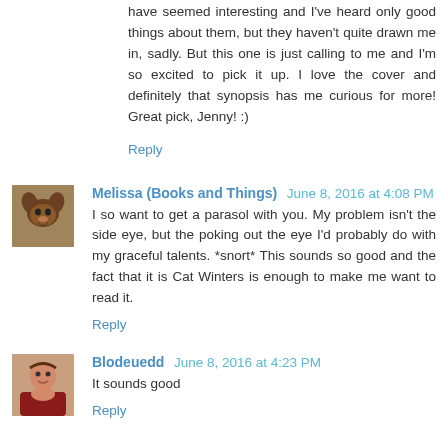have seemed interesting and I've heard only good things about them, but they haven't quite drawn me in, sadly. But this one is just calling to me and I'm so excited to pick it up. I love the cover and definitely that synopsis has me curious for more! Great pick, Jenny! :)
Reply
Melissa (Books and Things)  June 8, 2016 at 4:08 PM
I so want to get a parasol with you. My problem isn't the side eye, but the poking out the eye I'd probably do with my graceful talents. *snort* This sounds so good and the fact that it is Cat Winters is enough to make me want to read it.
Reply
Blodeuedd  June 8, 2016 at 4:23 PM
It sounds good
Reply